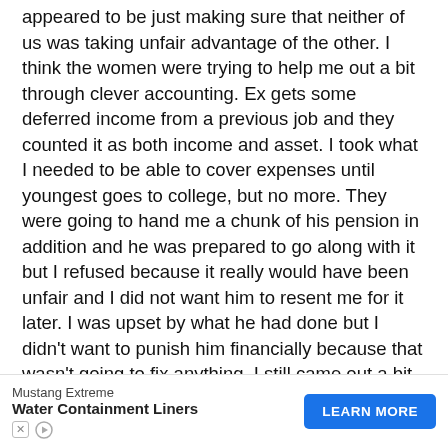appeared to be just making sure that neither of us was taking unfair advantage of the other. I think the women were trying to help me out a bit through clever accounting. Ex gets some deferred income from a previous job and they counted it as both income and asset. I took what I needed to be able to cover expenses until youngest goes to college, but no more. They were going to hand me a chunk of his pension in addition and he was prepared to go along with it but I refused because it really would have been unfair and I did not want him to resent me for it later. I was upset by what he had done but I didn't want to punish him financially because that wasn't going to fix anything. I still came out a bit ahead financially in the end, but probably not by much. Honestly, I wish I didn't need anything from him at all beyon...
[Figure (other): Advertisement banner: Mustang Extreme Water Containment Liners with a blue LEARN MORE button]